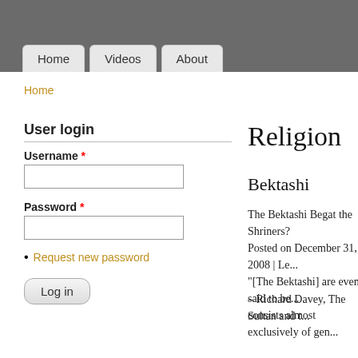Home | Videos | About
Home
User login
Username *
Password *
Request new password
Log in
Religion
Bektashi
The Bektashi Begat the Shriners? Posted on December 31, 2008 | Le... "[The Bektashi] are even said to be... consists almost exclusively of gen...
– Richard Davey, The Sultan and t...